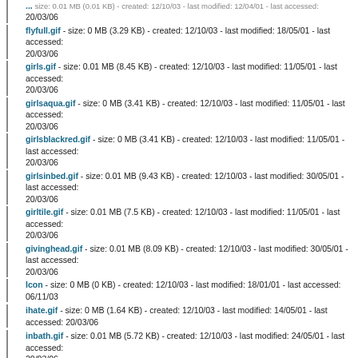flyfull.gif - size: 0 MB (3.29 KB) - created: 12/10/03 - last modified: 18/05/01 - last accessed: 20/03/06
girls.gif - size: 0.01 MB (8.45 KB) - created: 12/10/03 - last modified: 11/05/01 - last accessed: 20/03/06
girlsaqua.gif - size: 0 MB (3.41 KB) - created: 12/10/03 - last modified: 11/05/01 - last accessed: 20/03/06
girlsblackred.gif - size: 0 MB (3.41 KB) - created: 12/10/03 - last modified: 11/05/01 - last accessed: 20/03/06
girlsinbed.gif - size: 0.01 MB (9.43 KB) - created: 12/10/03 - last modified: 30/05/01 - last accessed: 20/03/06
girltile.gif - size: 0.01 MB (7.5 KB) - created: 12/10/03 - last modified: 11/05/01 - last accessed: 20/03/06
givinghead.gif - size: 0.01 MB (8.09 KB) - created: 12/10/03 - last modified: 30/05/01 - last accessed: 20/03/06
Icon - size: 0 MB (0 KB) - created: 12/10/03 - last modified: 18/01/01 - last accessed: 06/11/03
ihate.gif - size: 0 MB (1.64 KB) - created: 12/10/03 - last modified: 14/05/01 - last accessed: 20/03/06
inbath.gif - size: 0.01 MB (5.72 KB) - created: 12/10/03 - last modified: 24/05/01 - last accessed: 20/03/06
japporno1.gif - size: 0.01 MB (8.09 KB) - created: 12/10/03 - last modified: 09/05/01 - last accessed: 20/03/06
japporno2.gif - size: 0.01 MB (6.45 KB) - created: 12/10/03 - last modified: 09/05/01 - last accessed: 20/03/06
japporno3.jpg - size: 0.01 MB (7.93 KB) - created: 12/10/03 - last modified: 09/05/01 - last accessed: 01/12/03
jodi.gif - size: 0 MB (1.47 KB) - created: 12/10/03 - last modified: 07/05/01 - last accessed: 20/03/06
kornikovaquick.gif - size: 0.03 MB (29.35 KB) - created: 12/10/03 - last modified: 14/05/01 - last accessed: 20/03/06
kornikovatext.gif - size: 0 MB (0.87 KB) - created: 12/10/03 - last modified: 14/05/01 - last accessed: 20/03/06
kornikovatext1.gif - size: 0 MB (0.87 KB) - created: 12/10/03 - last modified: 14/05/01 - last accessed: 20/03/06
laracroft.gif - size: 0.01 MB (5.23 KB) - created: 12/10/03 - last modified: 11/05/01 - last accessed: 20/03/06
laraneg.gif - size: 0.01 MB (6.41 KB) - created: 12/10/03 - last modified: 11/05/01 - last accessed: 20/03/06
larawormanime.gif - size: 0 MB (1.44 KB) - created: 12/10/03 - last modified: 22/05/01 - last accessed: 20/03/06